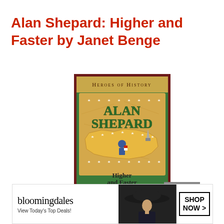Alan Shepard: Higher and Faster by Janet Benge
[Figure (illustration): Book cover of 'Alan Shepard: Higher and Faster' from the Heroes of History series by Janet & Geoff Benge. Features green and gold cover with a map of the USA, stars, and illustrations of Alan Shepard and space-related imagery.]
CLOSE
[Figure (illustration): Bloomingdale's advertisement banner: logo text 'bloomingdales', tagline 'View Today's Top Deals!', image of woman with wide-brim hat, button 'SHOP NOW >']